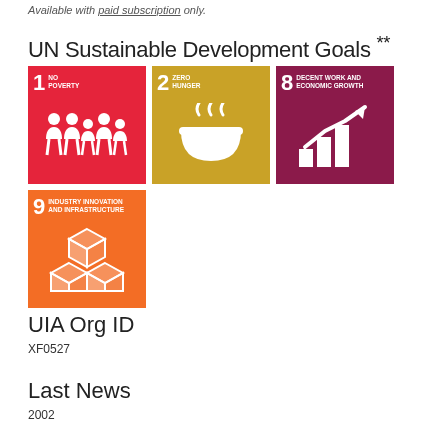Available with paid subscription only.
UN Sustainable Development Goals **
[Figure (infographic): Four UN Sustainable Development Goal tiles: 1 No Poverty (red), 2 Zero Hunger (gold), 8 Decent Work and Economic Growth (dark red/maroon), 9 Industry Innovation and Infrastructure (orange)]
UIA Org ID
XF0527
Last News
2002